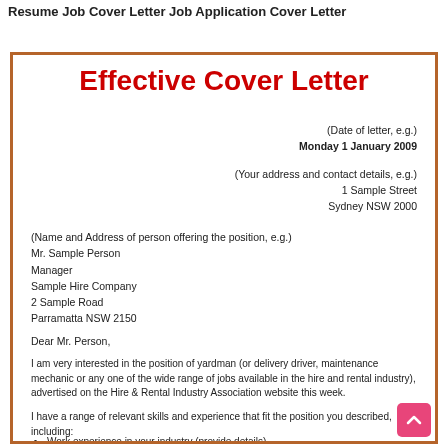Resume Job Cover Letter Job Application Cover Letter
Effective Cover Letter
(Date of letter, e.g.)
Monday 1 January 2009
(Your address and contact details, e.g.)
1 Sample Street
Sydney NSW 2000
(Name and Address of person offering the position, e.g.)
Mr. Sample Person
Manager
Sample Hire Company
2 Sample Road
Parramatta NSW 2150
Dear Mr. Person,
I am very interested in the position of yardman (or delivery driver, maintenance mechanic or any one of the wide range of jobs available in the hire and rental industry), advertised on the Hire & Rental Industry Association website this week.
I have a range of relevant skills and experience that fit the position you described, including:
Work experience in your industry (provide details)
Organisational skills, computer skills or other skills that directly relate to the position being advertised.  These skills may have been gained from school, from helping out in a family business, from part-time work after school and on